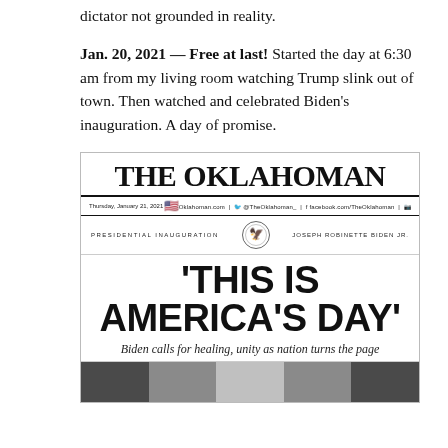dictator not grounded in reality.
Jan. 20, 2021 — Free at last! Started the day at 6:30 am from my living room watching Trump slink out of town. Then watched and celebrated Biden's inauguration. A day of promise.
[Figure (photo): Photograph of The Oklahoman newspaper front page dated Thursday, January 21, 2021. Headline reads 'THIS IS AMERICA'S DAY'. Subheadline: 'Biden calls for healing, unity as nation turns the page'. Features Presidential Inauguration banner with US seal and Joseph Robinette Biden Jr. label. Bottom shows partial photograph of inauguration.]